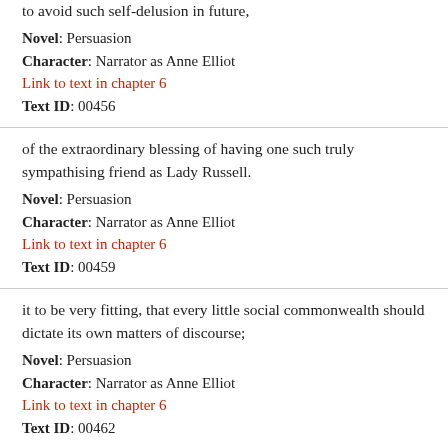to avoid such self-delusion in future,
Novel: Persuasion
Character: Narrator as Anne Elliot
Link to text in chapter 6
Text ID: 00456
of the extraordinary blessing of having one such truly sympathising friend as Lady Russell.
Novel: Persuasion
Character: Narrator as Anne Elliot
Link to text in chapter 6
Text ID: 00459
it to be very fitting, that every little social commonwealth should dictate its own matters of discourse;
Novel: Persuasion
Character: Narrator as Anne Elliot
Link to text in chapter 6
Text ID: 00462
ere long, to become a not unworthy member of the one she was